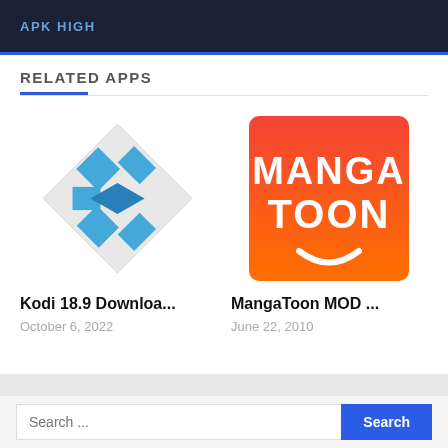APK HIGH
RELATED APPS
[Figure (logo): Kodi app icon — blue diamond-shaped logo with abstract K symbol on white background]
Kodi 18.9 Downloa...
October 6, 2022
[Figure (logo): MangaToon app icon — red-to-orange gradient square with white MANGA TOON text and smile graphic]
MangaToon MOD ...
June 22, 2010